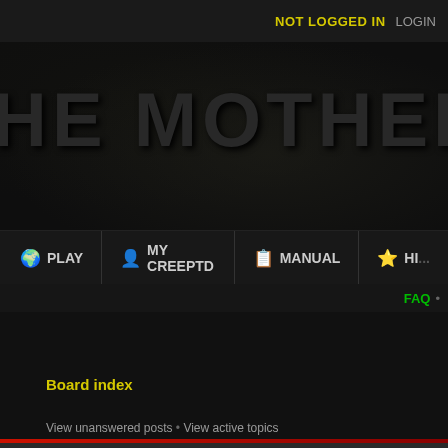NOT LOGGED IN  LOGIN
HE MOTHER OF ALL...
PLAY  MY CREEPTD  MANUAL  HI...
FAQ •
Board index
View unanswered posts • View active topics
CREEPTD
Announcements